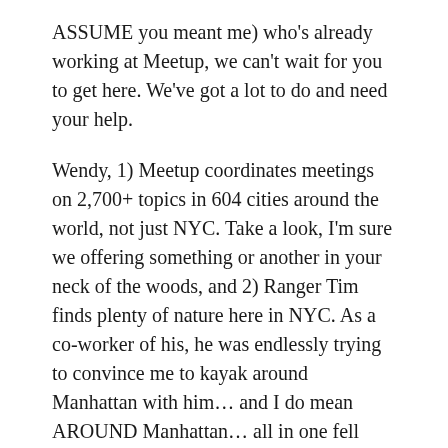ASSUME you meant me) who's already working at Meetup, we can't wait for you to get here. We've got a lot to do and need your help.
Wendy, 1) Meetup coordinates meetings on 2,700+ topics in 604 cities around the world, not just NYC. Take a look, I'm sure we offering something or another in your neck of the woods, and 2) Ranger Tim finds plenty of nature here in NYC. As a co-worker of his, he was endlessly trying to convince me to kayak around Manhattan with him… and I do mean AROUND Manhattan… all in one fell swoop.
-Peter S.